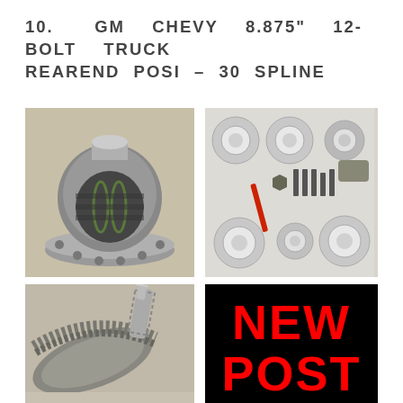10.  GM  CHEVY  8.875"  12-BOLT  TRUCK REAREND POSI – 30 SPLINE
[Figure (photo): Differential posi unit (carrier) for GM Chevy 8.875" 12-bolt truck rearend, showing internal springs and flanged case]
[Figure (photo): Rebuild kit components laid out on white surface: bearings, seals, bolts, shims, and other hardware for GM Chevy differential]
[Figure (photo): Ring and pinion gear set for GM Chevy 8.875" 12-bolt truck rearend, showing helical cut teeth]
[Figure (photo): Black background with red bold text reading NEW POST]